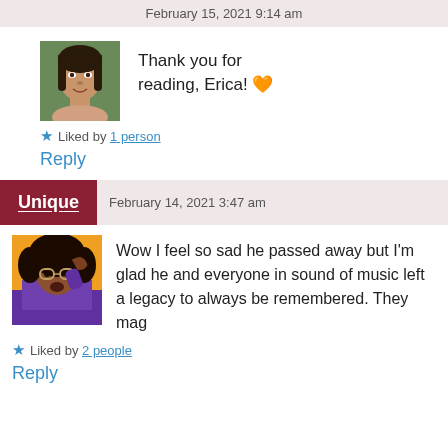February 15, 2021 9:14 am
[Figure (photo): Profile photo of a woman with dark hair, outdoors background]
Thank you for reading, Erica! 🧡
★ Liked by 1 person
Reply
Unique    February 14, 2021 3:47 am
[Figure (photo): Profile photo of a young woman in purple outfit on orange background]
Wow I feel so sad he passed away but I'm glad he and everyone in sound of music left a legacy to always be remembered. They mag
★ Liked by 2 people
Reply